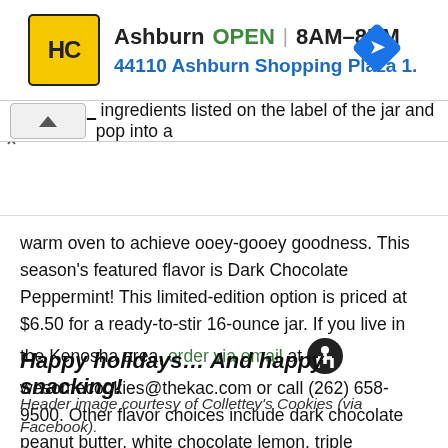[Figure (screenshot): Ad banner for Harris Teeter: Ashburn location, OPEN 8AM-8PM, 44110 Ashburn Shopping Plaza 1., with blue navigation diamond icon and HC logo]
ingredients listed on the label of the jar and pop into a warm oven to achieve ooey-gooey goodness. This season's featured flavor is Dark Chocolate Peppermint! This limited-edition option is priced at $6.50 for a ready-to-stir 16-ounce jar. If you live in the Kenosha area, order via email at awesomecookies@thekac.com or call (262) 658-9500. Other flavor choices include dark chocolate peanut butter, white chocolate lemon, triple chocolate chip and M&M's.
Happy holidays… And happy snacking!
Header image courtesy of Collettey's Cookies (via Facebook).